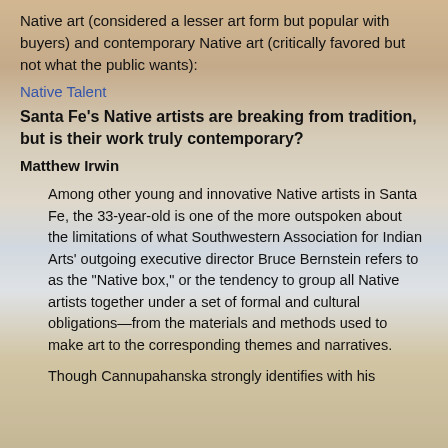Native art (considered a lesser art form but popular with buyers) and contemporary Native art (critically favored but not what the public wants):
Native Talent
Santa Fe's Native artists are breaking from tradition, but is their work truly contemporary?
Matthew Irwin
Among other young and innovative Native artists in Santa Fe, the 33-year-old is one of the more outspoken about the limitations of what Southwestern Association for Indian Arts' outgoing executive director Bruce Bernstein refers to as the "Native box," or the tendency to group all Native artists together under a set of formal and cultural obligations—from the materials and methods used to make art to the corresponding themes and narratives.
Though Cannupahanska strongly identifies with his